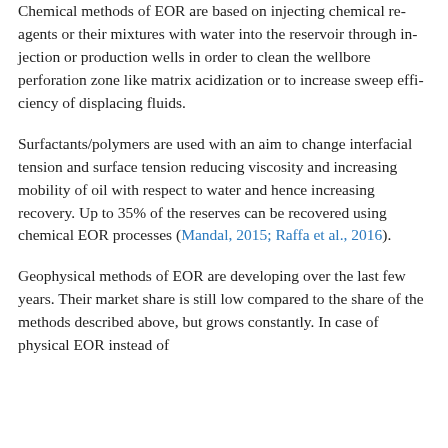Chemical methods of EOR are based on injecting chemical re- agents or their mixtures with water into the reservoir through in- jection or production wells in order to clean the wellbore perforation zone like matrix acidization or to increase sweep effi- ciency of displacing fluids.
Surfactants/polymers are used with an aim to change interfacial tension and surface tension reducing viscosity and increasing mobility of oil with respect to water and hence increasing recovery. Up to 35% of the reserves can be recovered using chemical EOR processes (Mandal, 2015; Raffa et al., 2016).
Geophysical methods of EOR are developing over the last few years. Their market share is still low compared to the share of the methods described above, but grows constantly. In case of physical EOR instead of...